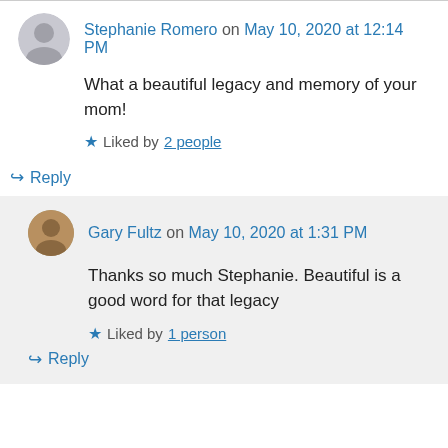Stephanie Romero on May 10, 2020 at 12:14 PM
What a beautiful legacy and memory of your mom!
Liked by 2 people
Reply
Gary Fultz on May 10, 2020 at 1:31 PM
Thanks so much Stephanie. Beautiful is a good word for that legacy
Liked by 1 person
Reply